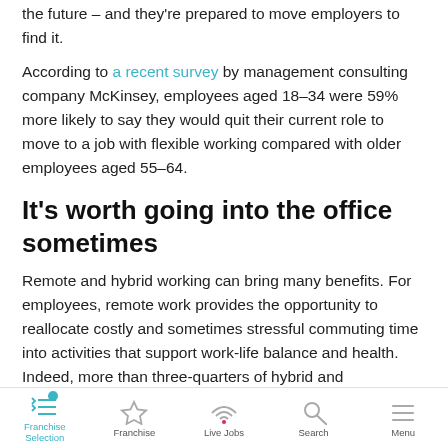the future – and they're prepared to move employers to find it.
According to a recent survey by management consulting company McKinsey, employees aged 18–34 were 59% more likely to say they would quit their current role to move to a job with flexible working compared with older employees aged 55–64.
It's worth going into the office sometimes
Remote and hybrid working can bring many benefits. For employees, remote work provides the opportunity to reallocate costly and sometimes stressful commuting time into activities that support work-life balance and health. Indeed, more than three-quarters of hybrid and
Franchise Selection | Franchise | Live Jobs | Search | Menu